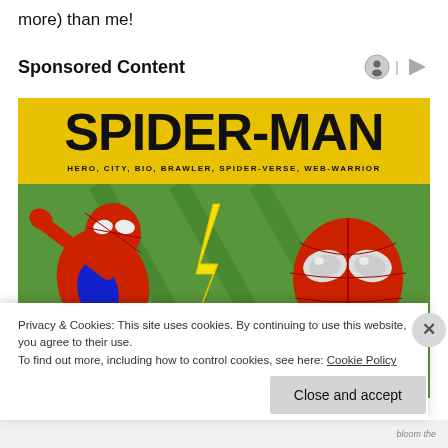more) than me!
Sponsored Content
[Figure (illustration): Spider-Man advertisement banner with yellow background showing 'SPIDER-MAN' title text, subtitle 'HERO, CITY, BIO, BRAWLER, SPIDER-VERSE, WEB-WARRIOR', two Spider-Man figures (animated left, realistic right), and 'POWER' text at center-bottom]
Privacy & Cookies: This site uses cookies. By continuing to use this website, you agree to their use.
To find out more, including how to control cookies, see here: Cookie Policy
Close and accept